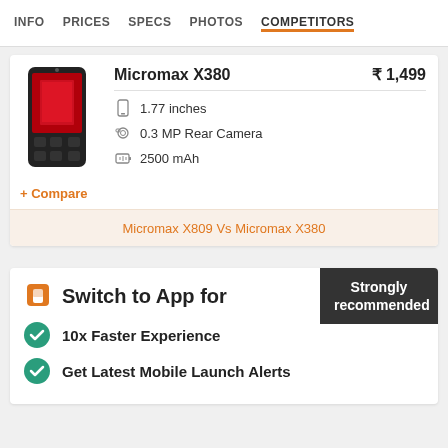INFO   PRICES   SPECS   PHOTOS   COMPETITORS
Micromax X380   ₹1,499
1.77 inches
0.3 MP Rear Camera
2500 mAh
+ Compare
Micromax X809 Vs Micromax X380
Switch to App for
10x Faster Experience
Get Latest Mobile Launch Alerts